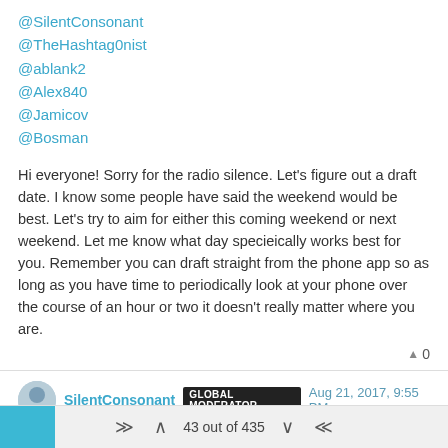@SilentConsonant
@TheHashtag0nist
@ablank2
@Alex840
@Jamicov
@Bosman
Hi everyone! Sorry for the radio silence. Let's figure out a draft date. I know some people have said the weekend would be best. Let's try to aim for either this coming weekend or next weekend. Let me know what day specieically works best for you. Remember you can draft straight from the phone app so as long as you have time to periodically look at your phone over the course of an hour or two it doesn't really matter where you are.
SilentConsonant GLOBAL MODERATOR Aug 21, 2017, 9:55 PM
I'm Pretty open on the weekends, as long as we have the time set in advance I should be available.
43 out of 435